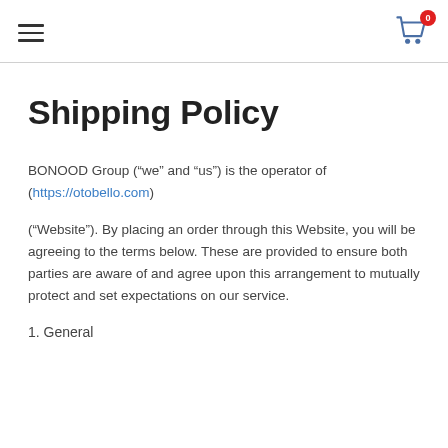Navigation header with hamburger menu and shopping cart icon showing 0 items
Shipping Policy
BONOOD Group (“we” and “us”) is the operator of (https://otobello.com)
(“Website”). By placing an order through this Website, you will be agreeing to the terms below. These are provided to ensure both parties are aware of and agree upon this arrangement to mutually protect and set expectations on our service.
1. General